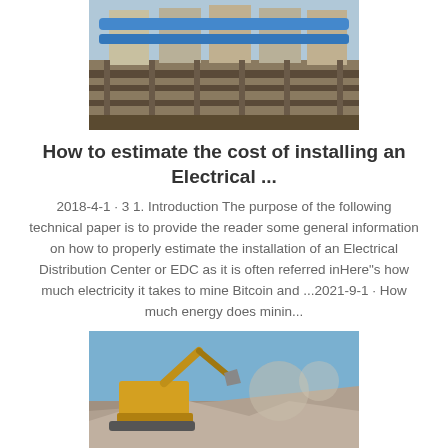[Figure (photo): Industrial machinery with blue pipes and conveyor structures at a mining or construction facility]
How to estimate the cost of installing an Electrical ...
2018-4-1 · 3 1. Introduction The purpose of the following technical paper is to provide the reader some general information on how to properly estimate the installation of an Electrical Distribution Center or EDC as it is often referred inHere"s how much electricity it takes to mine Bitcoin and ...2021-9-1 · How much energy does minin...
[Figure (photo): Yellow excavator working at a rocky mining or demolition site with rubble and dust]